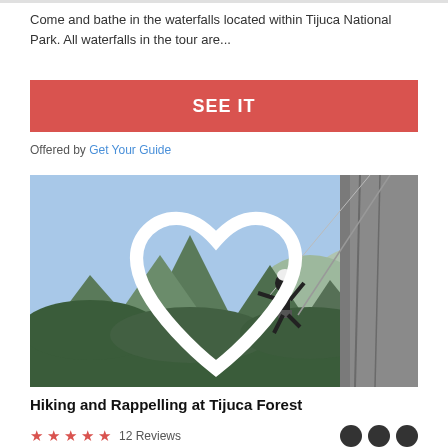Come and bathe in the waterfalls located within Tijuca National Park. All waterfalls in the tour are...
SEE IT
Offered by Get Your Guide
[Figure (photo): A person rappelling down a rocky cliff face with lush green mountains and blue sky in the background at Tijuca Forest]
Hiking and Rappelling at Tijuca Forest
★★★★★ 12 Reviews